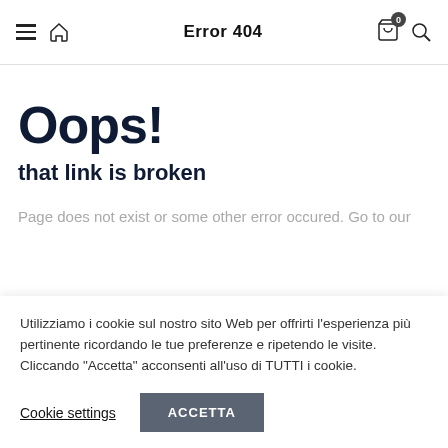Error 404
Oops!
that link is broken
Page does not exist or some other error occured. Go to our
Utilizziamo i cookie sul nostro sito Web per offrirti l'esperienza più pertinente ricordando le tue preferenze e ripetendo le visite. Cliccando "Accetta" acconsenti all'uso di TUTTI i cookie.
Cookie settings  ACCETTA